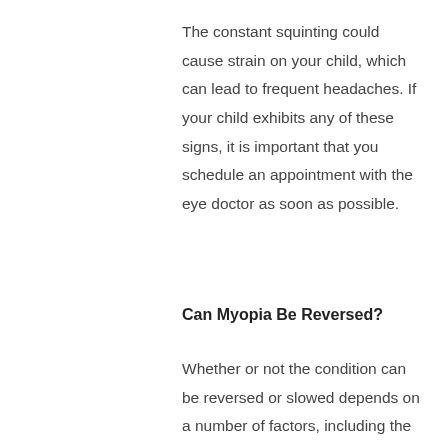The constant squinting could cause strain on your child, which can lead to frequent headaches. If your child exhibits any of these signs, it is important that you schedule an appointment with the eye doctor as soon as possible.
Can Myopia Be Reversed?
Whether or not the condition can be reversed or slowed depends on a number of factors, including the treatment that your child receives. The condition usually stabilizes by the time your child reaches his or her 20's. With proper treatment, it is sometimes possible to correct the issue or prevent it from worsening.
The most commonly used treatment is